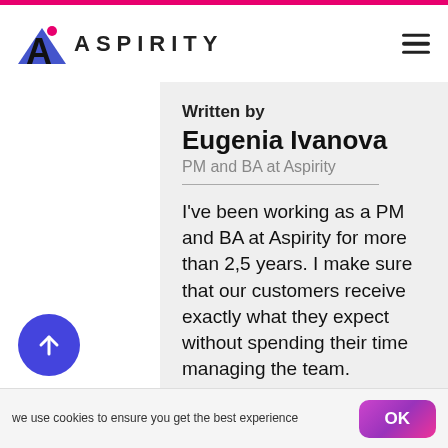ASPIRITY
Written by
Eugenia Ivanova
PM and BA at Aspirity
I've been working as a PM and BA at Aspirity for more than 2,5 years. I make sure that our customers receive exactly what they expect without spending their time managing the team.
we use cookies to ensure you get the best experience